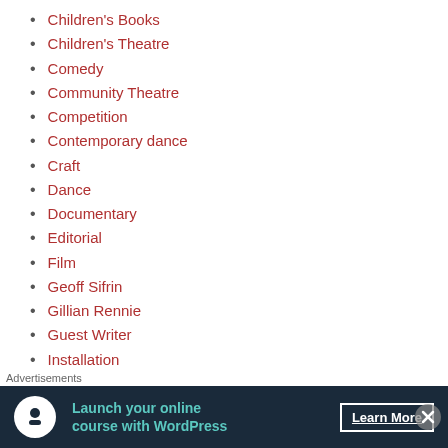Children's Books
Children's Theatre
Comedy
Community Theatre
Competition
Contemporary dance
Craft
Dance
Documentary
Editorial
Film
Geoff Sifrin
Gillian Rennie
Guest Writer
Installation
Interview
jazz
Johannesburg International Mozart Festival
Advertisements
[Figure (infographic): Advertisement banner for launching an online course with WordPress, with a Learn More button.]